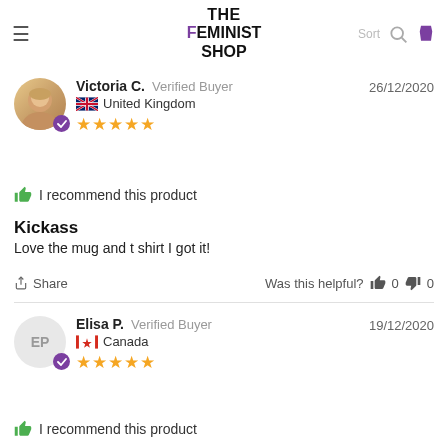THE FEMINIST SHOP
Victoria C.  Verified Buyer  26/12/2020  United Kingdom  ★★★★★
I recommend this product
Kickass
Love the mug and t shirt I got it!
Share  Was this helpful?  👍 0  👎 0
Elisa P.  Verified Buyer  19/12/2020  Canada  ★★★★★
I recommend this product